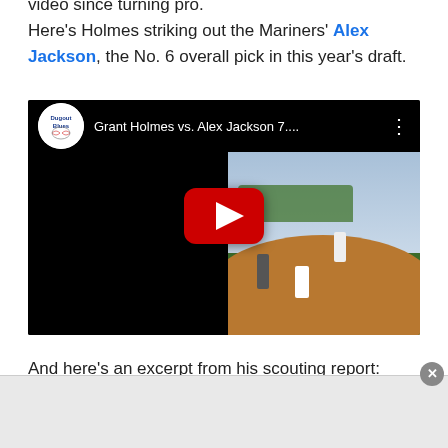video since turning pro.
Here's Holmes striking out the Mariners' Alex Jackson, the No. 6 overall pick in this year's draft.
[Figure (screenshot): YouTube video embed thumbnail showing a baseball game scene with a YouTube play button overlay. Channel logo is Dugout Blues. Title reads: Grant Holmes vs. Alex Jackson 7....]
And here's an excerpt from his scouting report: